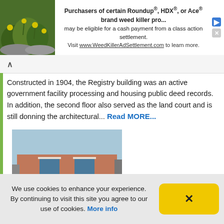[Figure (infographic): Ad banner with a plant/leaves photo on the left and ad text about Roundup/HDX/Ace weed killer class action settlement on the right]
Constructed in 1904, the Registry building was an active government facility processing and housing public deed records. In addition, the second floor also served as the land court and is still donning the architectural... Read MORE...
[Figure (photo): Historical photo of a brick fire station building in Plymouth, Massachusetts, USA with arched doorways and windows]
Plymouth, Massachusetts, USA
Pin it
We use cookies to enhance your experience. By continuing to visit this site you agree to our use of cookies. More info